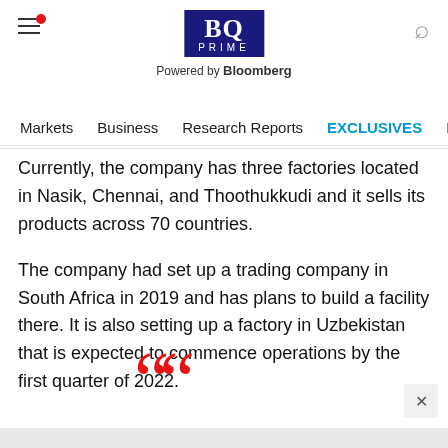BQ Prime — Powered by Bloomberg
Markets  Business  Research Reports  EXCLUSIVES  Economy
Currently, the company has three factories located in Nasik, Chennai, and Thoothukkudi and it sells its products across 70 countries.
The company had set up a trading company in South Africa in 2019 and has plans to build a facility there. It is also setting up a factory in Uzbekistan that is expected to commence operations by the first quarter of 2022.
[Figure (illustration): Large red opening double-quotation marks decorative element]